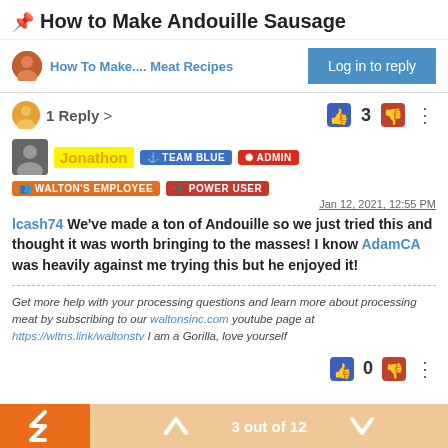📌 How to Make Andouille Sausage
How To Make.... Meat Recipes
Log in to reply
1 Reply >
3
Jonathon  TEAM BLUE  ADMIN  WALTON'S EMPLOYEE  POWER USER
Jan 12, 2021, 12:55 PM
lcash74 We've made a ton of Andouille so we just tried this and thought it was worth bringing to the masses! I know AdamCA was heavily against me trying this but he enjoyed it!
Get more help with your processing questions and learn more about processing meat by subscribing to our waltonsinc.com youtube page at https://wltns.link/waltonstv I am a Gorilla, love yourself
0
3 out of 12